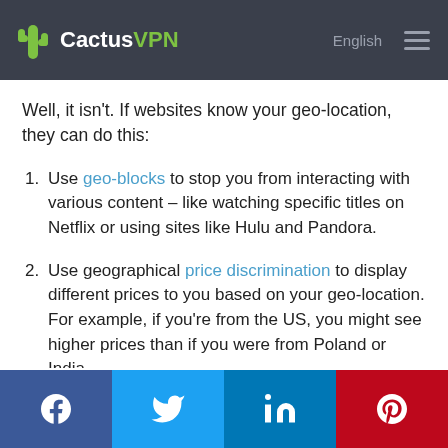CactusVPN
Well, it isn't. If websites know your geo-location, they can do this:
Use geo-blocks to stop you from interacting with various content – like watching specific titles on Netflix or using sites like Hulu and Pandora.
Use geographical price discrimination to display different prices to you based on your geo-location. For example, if you're from the US, you might see higher prices than if you were from Poland or India.
Facebook Twitter LinkedIn Pinterest